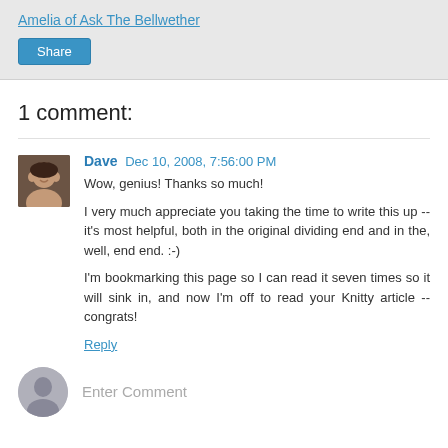Amelia of Ask The Bellwether
Share
1 comment:
Dave  Dec 10, 2008, 7:56:00 PM
Wow, genius! Thanks so much!

I very much appreciate you taking the time to write this up -- it's most helpful, both in the original dividing end and in the, well, end end. :-)

I'm bookmarking this page so I can read it seven times so it will sink in, and now I'm off to read your Knitty article -- congrats!
Reply
Enter Comment